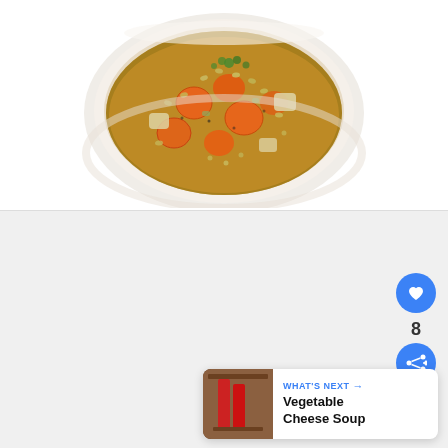[Figure (photo): Overhead view of a white bowl filled with vegetable barley soup containing sliced carrots, potatoes, celery, and barley in a golden broth, garnished with parsley]
[Figure (screenshot): Web page area below the soup photo showing a light gray content area with three pagination dots, a blue circular heart/like button, the number 8, a blue circular share button, and a 'What's Next' card in the bottom right corner showing 'Vegetable Cheese Soup' with a thumbnail image]